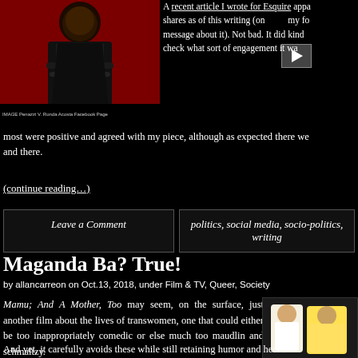[Figure (photo): Person in dark clothing against red background, IMAGE Penazzi V. Ronda Acosta Facebook Page caption]
A recent article I wrote for Esquire appa... shares as of this writing (on... my fo... message about it). Not bad. It did kind... check what sort of engagement it wa... most were positive and agreed with my piece, although as expected there we... and there.
(continue reading...)
Leave a Comment
politics, social media, socio-politics, writing
Maganda Ba? True!
by allancarreon on Oct.13, 2018, under Film & TV, Queer, Society
Mamu; And A Mother, Too may seem, on the surface, just another film about the lives of transwomen, one that could either be too inappropriately comedic or else much too maudlin and schmaltzy.
And yet, it carefully avoids these while still retaining humor and heart.
[Figure (photo): Two people posing together, one in white top]